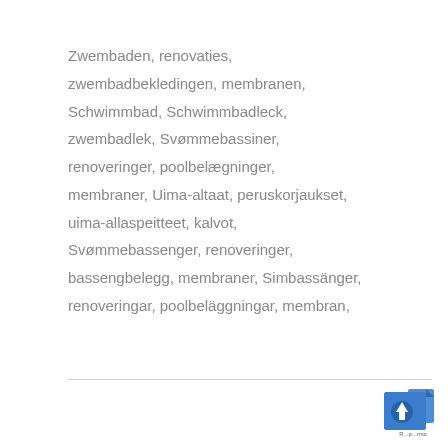Zwembaden, renovaties, zwembadbekledingen, membranen, Schwimmbad, Schwimmbadleck, zwembadlek, Svømmebassiner, renoveringer, poolbelægninger, membraner, Uima-altaat, peruskorjaukset, uima-allaspeitteet, kalvot, Svømmebassenger, renoveringer, bassengbelegg, membraner, Simbassänger, renoveringar, poolbeläggningar, membran,
[Figure (logo): Blue document/scroll icon with upward arrow, with small text below]